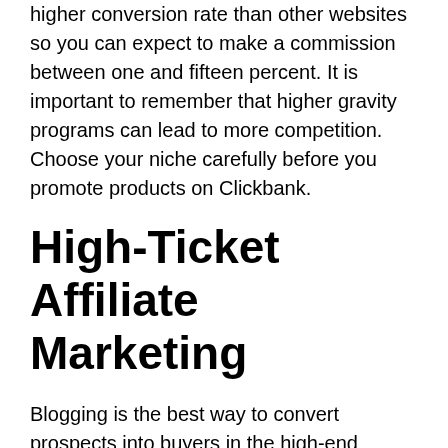higher conversion rate than other websites so you can expect to make a commission between one and fifteen percent. It is important to remember that higher gravity programs can lead to more competition. Choose your niche carefully before you promote products on Clickbank.
High-Ticket Affiliate Marketing
Blogging is the best way to convert prospects into buyers in the high-end affiliate marketing niche. A simple ad to a product landing page is unlikely to convert visitors, so you need to build a blog and write high-quality reviews of the products.